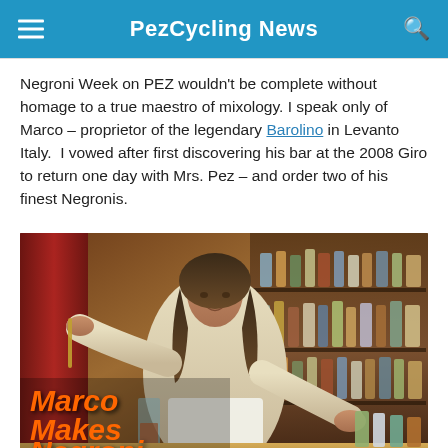PezCycling News
Negroni Week on PEZ wouldn't be complete without homage to a true maestro of mixology. I speak only of Marco – proprietor of the legendary Barolino in Levanto Italy.  I vowed after first discovering his bar at the 2008 Giro to return one day with Mrs. Pez – and order two of his finest Negronis.
[Figure (photo): Marco, a long-haired bartender in a white shirt and apron, making a Negroni behind a bar stocked with bottles. Overlay text reads 'Marco Makes ~the~ Perfect Negroni' in orange italic bold font.]